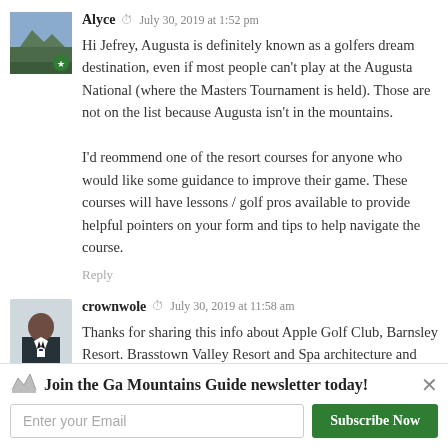[Figure (photo): Avatar of Alyce — landscape/nature thumbnail with green star badge]
Alyce  July 30, 2019 at 1:52 pm
Hi Jefrey, Augusta is definitely known as a golfers dream destination, even if most people can't play at the Augusta National (where the Masters Tournament is held). Those are not on the list because Augusta isn't in the mountains.

I'd reommend one of the resort courses for anyone who would like some guidance to improve their game. These courses will have lessons / golf pros available to provide helpful pointers on your form and tips to help navigate the course.
Reply
[Figure (photo): Avatar of crownwole — man in suit profile photo]
crownwole  July 30, 2019 at 11:58 am
Thanks for sharing this info about Apple Golf Club, Barnsley Resort. Brasstown Valley Resort and Spa architecture and design is great. The environment is condusive for learning . I will like to
Join the Ga Mountains Guide newsletter today!
Enter your Email
Subscribe Now